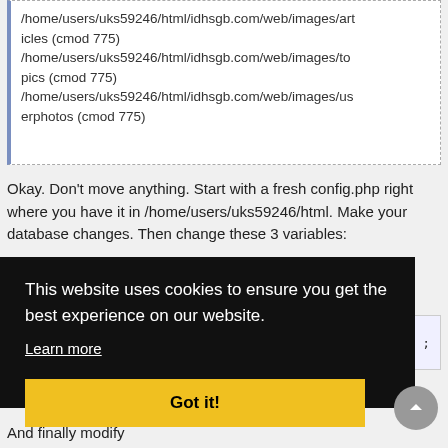/home/users/uks59246/html/idhsgb.com/web/images/articles (cmod 775)
/home/users/uks59246/html/idhsgb.com/web/images/topics (cmod 775)
/home/users/uks59246/html/idhsgb.com/web/images/userphotos (cmod 775)
Okay. Don't move anything. Start with a fresh config.php right where you have it in /home/users/uks59246/html. Make your database changes. Then change these 3 variables:
[Figure (screenshot): Cookie consent overlay banner with black background showing 'This website uses cookies to ensure you get the best experience on our website.' with a 'Learn more' link and a yellow 'Got it!' button.]
And finally modify